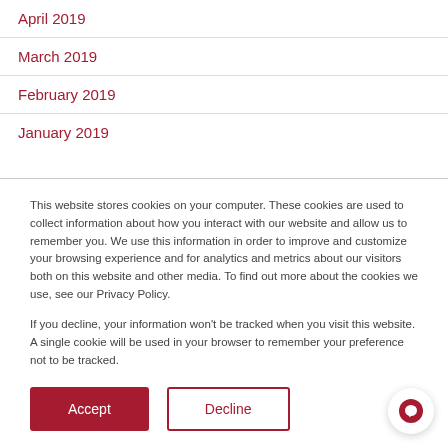April 2019
March 2019
February 2019
January 2019
This website stores cookies on your computer. These cookies are used to collect information about how you interact with our website and allow us to remember you. We use this information in order to improve and customize your browsing experience and for analytics and metrics about our visitors both on this website and other media. To find out more about the cookies we use, see our Privacy Policy.
If you decline, your information won't be tracked when you visit this website. A single cookie will be used in your browser to remember your preference not to be tracked.